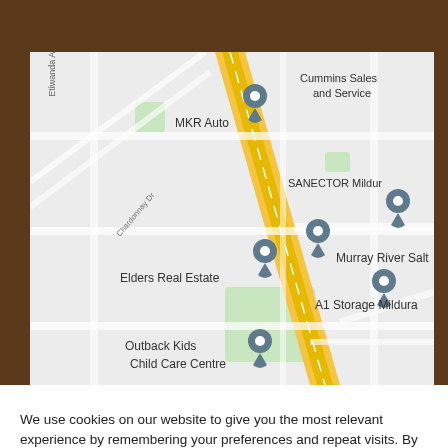[Figure (map): Google Maps screenshot showing Mildura area with location pins for MKR Auto, Cummins Sales and Service, SANECTOR Mildura, Murray River Salt, A1 Storage Mildura, Elders Real Estate, and Outback Kids Child Care Centre. A yellow road runs diagonally. Street names include Etiwanda Av and Chardonnay Dr.]
We use cookies on our website to give you the most relevant experience by remembering your preferences and repeat visits. By clicking "Accept All", you consent to the use of ALL the cookies. However, you may visit "Cookie Settings" to provide a controlled consent.
Cookie Settings
Accept All